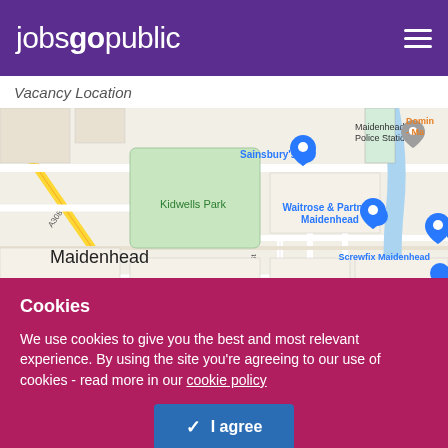jobsgopublic
Vacancy Location
[Figure (map): Google Maps view of Maidenhead town centre showing landmarks including Sainsbury's, Kidwells Park, Waitrose & Partners Maidenhead, Maidenhead Police Station, Screwfix Maidenhead, ODEON Luxe Maidenhead, Maidenhead United Football Club, and a location pin near the town centre. Streets visible include West St, Queen St, Park St, St Ives Rd, A308.]
Cookies
We use cookies to give you the best and most relevant experience. By using the site you’re agreeing to our use of cookies - read more in our cookie policy
I agree